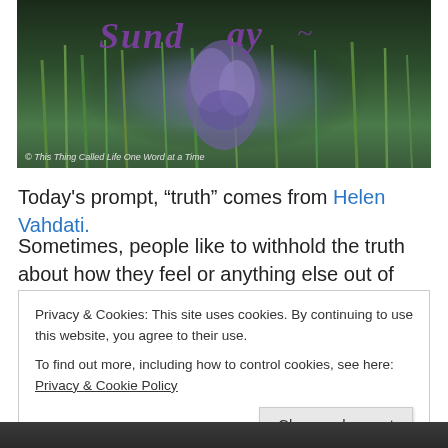[Figure (photo): Blog banner photo showing purple wildflowers and green grass with cursive purple text reading 'Sunday' and copyright notice '© This Thing Called Life One Word at a Time']
Today's prompt, “truth” comes from Helen Vahdati.
Sometimes, people like to withhold the truth about how they feel or anything else out of fear or ego. It’s okay to
Privacy & Cookies: This site uses cookies. By continuing to use this website, you agree to their use.
To find out more, including how to control cookies, see here: Privacy & Cookie Policy
Close and accept